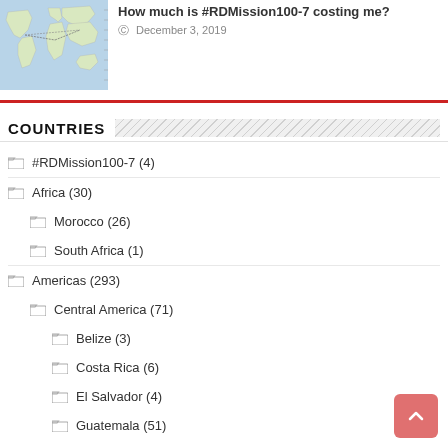[Figure (map): World map thumbnail with blue oceans and light land masses, showing route lines]
How much is #RDMission100-7 costing me?
December 3, 2019
COUNTRIES
#RDMission100-7 (4)
Africa (30)
Morocco (26)
South Africa (1)
Americas (293)
Central America (71)
Belize (3)
Costa Rica (6)
El Salvador (4)
Guatemala (51)
Ruins of Antigua (2)